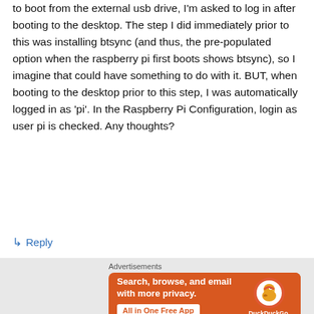to boot from the external usb drive, I'm asked to log in after booting to the desktop. The step I did immediately prior to this was installing btsync (and thus, the pre-populated option when the raspberry pi first boots shows btsync), so I imagine that could have something to do with it. BUT, when booting to the desktop prior to this step, I was automatically logged in as 'pi'. In the Raspberry Pi Configuration, login as user pi is checked. Any thoughts?
↳ Reply
[Figure (other): DuckDuckGo advertisement banner: orange background with text 'Search, browse, and email with more privacy. All in One Free App' on left, DuckDuckGo duck logo and wordmark on right.]